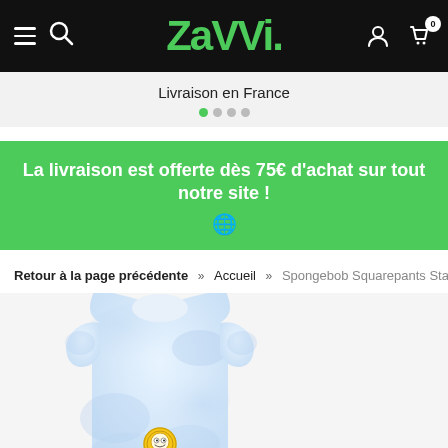ZAVVI navigation bar with hamburger menu, search icon, ZAVVI logo, user icon, and cart icon with badge 0
Livraison en France
La livraison est offerte dès 75€ d'achat sur tout notre site ! 🌐
Retour à la page précédente » Accueil » Spongebob Squarepants Stay Pret
[Figure (photo): A light blue tie-dye t-shirt with a small Spongebob Squarepants emblem/badge on the chest area]